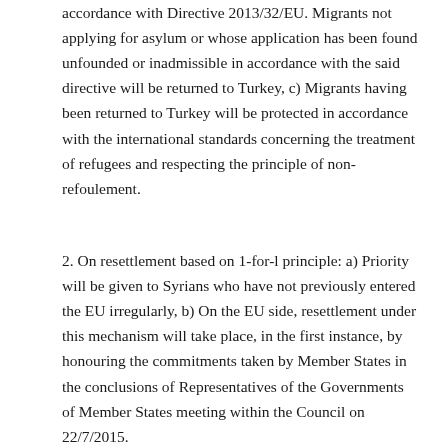accordance with Directive 2013/32/EU. Migrants not applying for asylum or whose application has been found unfounded or inadmissible in accordance with the said directive will be returned to Turkey, c) Migrants having been returned to Turkey will be protected in accordance with the international standards concerning the treatment of refugees and respecting the principle of non-refoulement.
2. On resettlement based on 1-for-l principle: a) Priority will be given to Syrians who have not previously entered the EU irregularly, b) On the EU side, resettlement under this mechanism will take place, in the first instance, by honouring the commitments taken by Member States in the conclusions of Representatives of the Governments of Member States meeting within the Council on 22/7/2015.